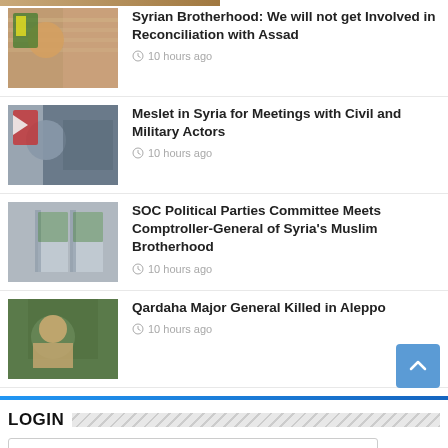Syrian Brotherhood: We will not get Involved in Reconciliation with Assad — 10 hours ago
Meslet in Syria for Meetings with Civil and Military Actors — 10 hours ago
SOC Political Parties Committee Meets Comptroller-General of Syria's Muslim Brotherhood — 10 hours ago
Qardaha Major General Killed in Aleppo — 10 hours ago
LOGIN
Username